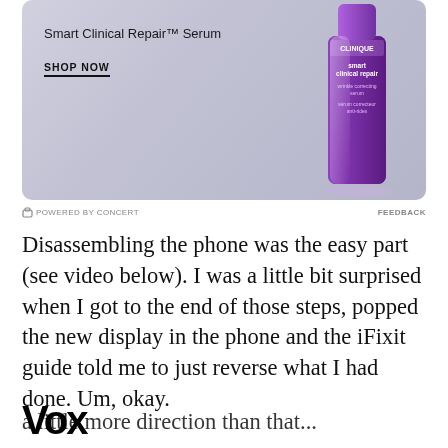[Figure (photo): Clinique Smart Clinical Repair Wrinkle Correcting Serum advertisement banner with product bottle on purple/lavender gradient background]
Smart Clinical Repair™ Serum
SHOP NOW
POWERED BY CONCERT   FEEDBACK
Disassembling the phone was the easy part (see video below). I was a little bit surprised when I got to the end of those steps, popped the new display in the phone and the iFixit guide told me to just reverse what I had done. Um, okay.
[Figure (logo): Vox media logo in bold black text]